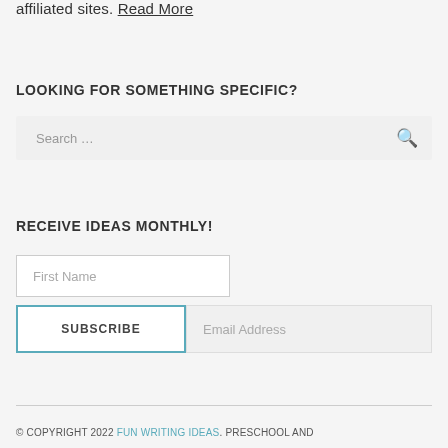affiliated sites. Read More
LOOKING FOR SOMETHING SPECIFIC?
Search …
RECEIVE IDEAS MONTHLY!
First Name
SUBSCRIBE
Email Address
© COPYRIGHT 2022 FUN WRITING IDEAS. PRESCHOOL AND